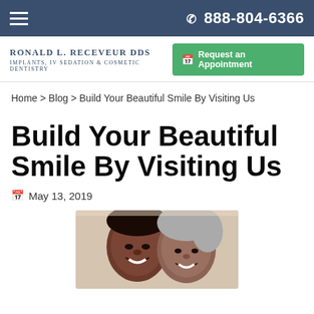☰  888-804-6366
Ronald L. Receveur DDS IMPLANTS, IV SEDATION & COSMETIC DENTISTRY
Request an Appointment
Home > Blog > Build Your Beautiful Smile By Visiting Us
Build Your Beautiful Smile By Visiting Us
May 13, 2019
[Figure (photo): A smiling older couple, man and woman, close together]